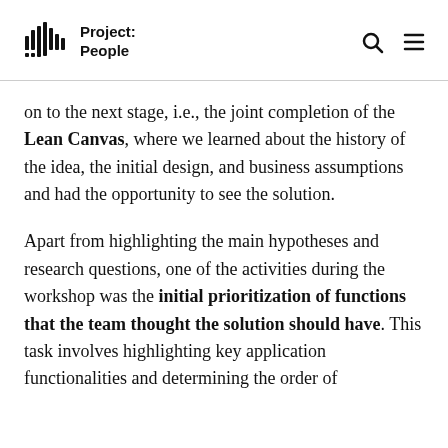Project: People
on to the next stage, i.e., the joint completion of the Lean Canvas, where we learned about the history of the idea, the initial design, and business assumptions and had the opportunity to see the solution.
Apart from highlighting the main hypotheses and research questions, one of the activities during the workshop was the initial prioritization of functions that the team thought the solution should have. This task involves highlighting key application functionalities and determining the order of